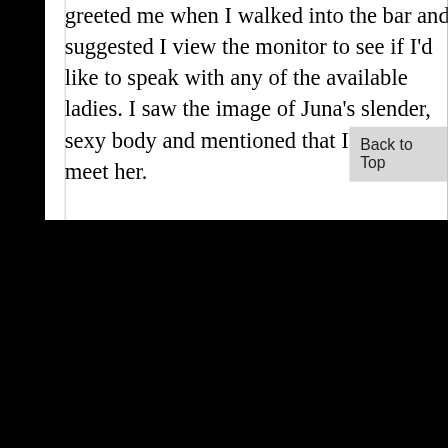greeted me when I walked into the bar and suggested I view the monitor to see if I'd like to speak with any of the available ladies. I saw the image of Juna's slender, sexy body and mentioned that I'd like to meet her.

When she walked into the bar I was floored by how sexy and beautiful she was. I had a quick drink and then just couldn't wait to go to her room and talk. We decided that an erotic massage was what I needed, followed by some
Back to Top